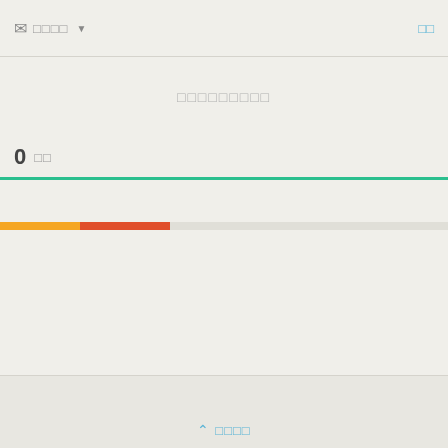✉ □□□□ ▼  □□
□□□□□□□□□
0 □□
[Figure (infographic): Green progress bar separator, bolt icon (yellow), flame icon (red-orange), and two-segment progress bar (yellow segment and red segment) on a light beige background]
⌃ □□□□